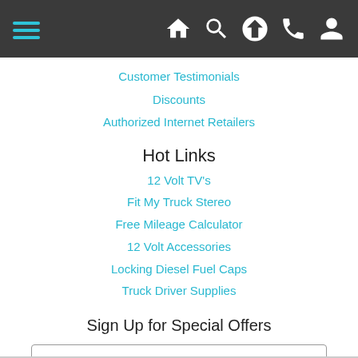Navigation bar with hamburger menu and icons: home, search, upload, phone, user
Customer Testimonials
Discounts
Authorized Internet Retailers
Hot Links
12 Volt TV's
Fit My Truck Stereo
Free Mileage Calculator
12 Volt Accessories
Locking Diesel Fuel Caps
Truck Driver Supplies
Sign Up for Special Offers
[Email input field]
Sign Up!